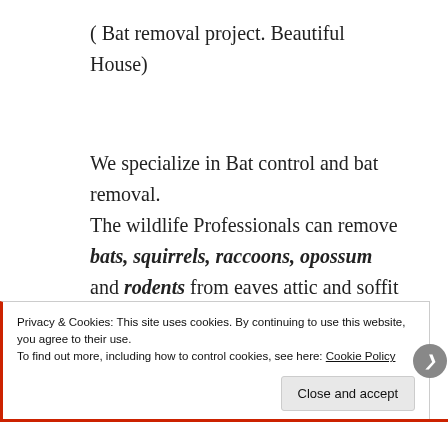( Bat removal project. Beautiful House)
We specialize in Bat control and bat removal. The wildlife Professionals can remove bats, squirrels, raccoons, opossum and rodents from eaves attic and soffit areas of
Privacy & Cookies: This site uses cookies. By continuing to use this website, you agree to their use.
To find out more, including how to control cookies, see here: Cookie Policy